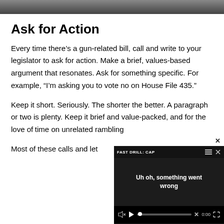[Figure (photo): Partial photo strip at top of page, showing a cropped image (mostly obscured)]
Ask for Action
Every time there’s a gun-related bill, call and write to your legislator to ask for action. Make a brief, values-based argument that resonates. Ask for something specific. For example, “I’m asking you to vote no on House File 435.”
Keep it short. Seriously. The shorter the better. A paragraph or two is plenty. Keep it brief and value-packed, and for the love o… time on unrelated rambling…
Most of these calls and let…
[Figure (screenshot): Video player overlay showing error message: 'Uh oh, something went wrong' with FAST DRILL: CAP… title, muted icon, play button, progress bar at 0:00, and close button]